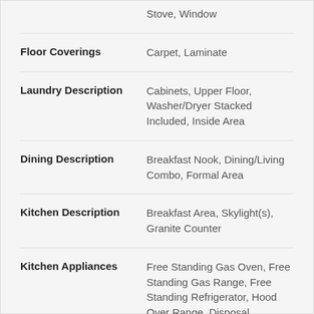| Field | Value |
| --- | --- |
| Stove, Window (partial/cut off) |  |
| Floor Coverings | Carpet, Laminate |
| Laundry Description | Cabinets, Upper Floor, Washer/Dryer Stacked Included, Inside Area |
| Dining Description | Breakfast Nook, Dining/Living Combo, Formal Area |
| Kitchen Description | Breakfast Area, Skylight(s), Granite Counter |
| Kitchen Appliances | Free Standing Gas Oven, Free Standing Gas Range, Free Standing Refrigerator, Hood Over Range, Disposal, Microwave, Plumbed For Ice |